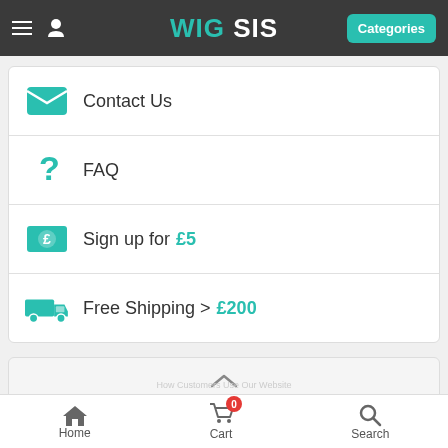WIG SIS — Categories
Contact Us
FAQ
Sign up for £5
Free Shipping > £200
TOP OF PAGE
SIGN IN
Home   Cart   Search